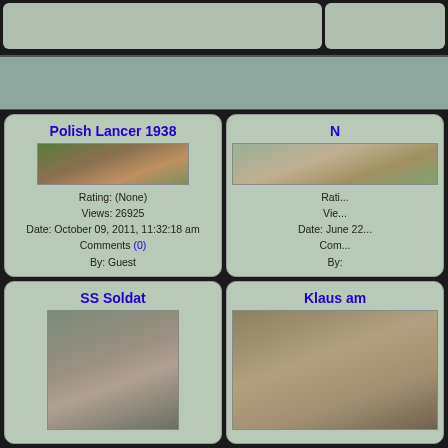[Figure (photo): Polish Lancer 1938 - soldier on horseback in uniform with rifle, in wooded area]
Rating: (None)
Views: 26925
Date: October 09, 2011, 11:32:18 am
Comments (0)
By: Guest
[Figure (photo): Partially visible image on right side, person in white garment outdoor]
Rating: ...
Views: ...
Date: June 22 ...
Com...
By:...
[Figure (photo): SS Soldat - soldier in camouflage uniform]
[Figure (photo): Klaus am... - partially visible image]